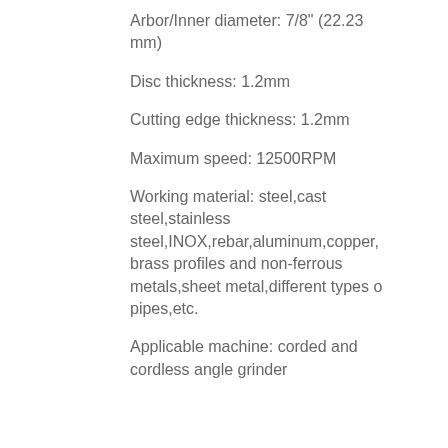Arbor/Inner diameter: 7/8" (22.23 mm)
Disc thickness: 1.2mm
Cutting edge thickness: 1.2mm
Maximum speed: 12500RPM
Working material: steel,cast steel,stainless steel,INOX,rebar,aluminum,copper,brass profiles and non-ferrous metals,sheet metal,different types of pipes,etc.
Applicable machine: corded and cordless angle grinder